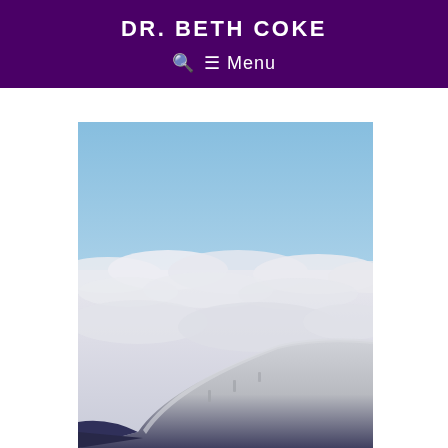DR. BETH COKE
🔍 ☰ Menu
[Figure (photo): View from an airplane window showing the aircraft wing, a layer of white clouds below, and a gradient sky above ranging from pale blue at the top to a soft pink/peach band near the horizon, taken at dawn or dusk.]